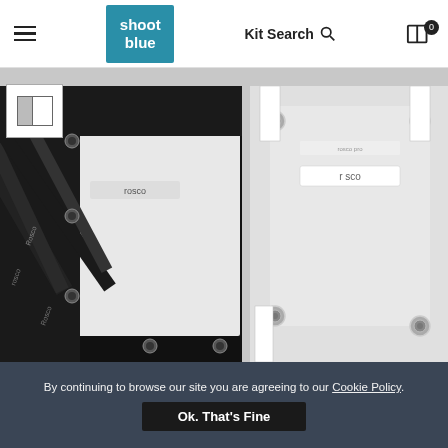shoot blue — Kit Search [search icon] [cart 0]
[Figure (photo): Two close-up product photos of Rosco brand photography diffusion fabric/scrim panels. Left photo shows black binding straps and grommets on a white diffusion panel. Right photo shows silver grommets and straps on a white diffusion panel. A small thumbnail icon is overlaid top-left.]
By continuing to browse our site you are agreeing to our Cookie Policy.
Ok. That's Fine